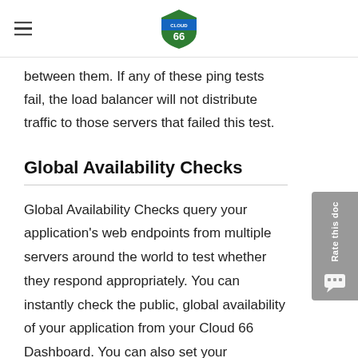Cloud 66
between them. If any of these ping tests fail, the load balancer will not distribute traffic to those servers that failed this test.
Global Availability Checks
Global Availability Checks query your application's web endpoints from multiple servers around the world to test whether they respond appropriately. You can instantly check the public, global availability of your application from your Cloud 66 Dashboard. You can also set your application to automatically check the availability of endpoints after each deployment.